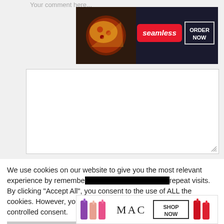Your comment here...
[Figure (screenshot): Seamless food delivery advertisement banner with pizza image, red 'seamless' logo button, and 'ORDER NOW' button on dark background]
[Figure (screenshot): White textarea input box for comment entry with resize handle]
[Figure (screenshot): Name input field (white box with gray placeholder text 'Name')]
[Figure (screenshot): Email input field (white box with gray placeholder text 'Email'), partially overlaid by black video player overlay with X close button]
We use cookies on our website to give you the most relevant experience by remembering your preferences and repeat visits. By clicking "Accept All", you consent to the use of ALL the cookies. However, you may visit "Cookie Settings" to provide a controlled consent.
[Figure (screenshot): Cookie consent buttons row: Cookie Settings (gray), Accept All (green), CLOSE (dark gray)]
[Figure (screenshot): MAC cosmetics advertisement banner showing colorful lipsticks, MAC logo, and 'SHOP NOW' button]